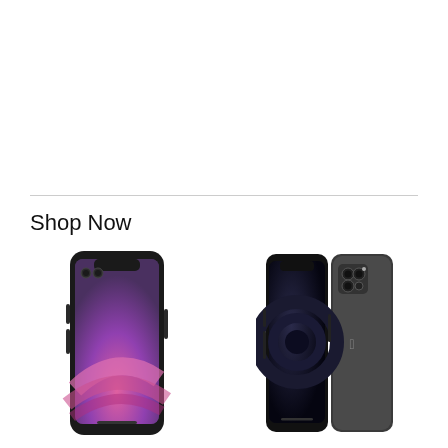Shop Now
[Figure (photo): Apple iPhone 11 in Black color, showing front and back, with colorful purple/pink wallpaper on screen]
Apple iPhone 11, 64GB, Black - Unlocked (Renewed)
[Figure (photo): Apple iPhone 12 Pro Max in Graphite color, showing front and back with distinctive triple camera system]
Apple iPhone 12 Pro Max, 128GB, Graphite - Fully Unl